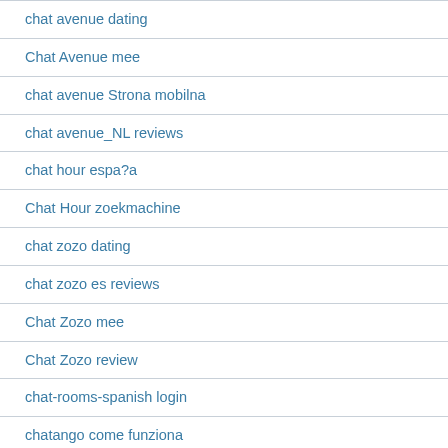chat avenue dating
Chat Avenue mee
chat avenue Strona mobilna
chat avenue_NL reviews
chat hour espa?a
Chat Hour zoekmachine
chat zozo dating
chat zozo es reviews
Chat Zozo mee
Chat Zozo review
chat-rooms-spanish login
chatango come funziona
chatango espa?a
chatango fr review
chatango pl reviews